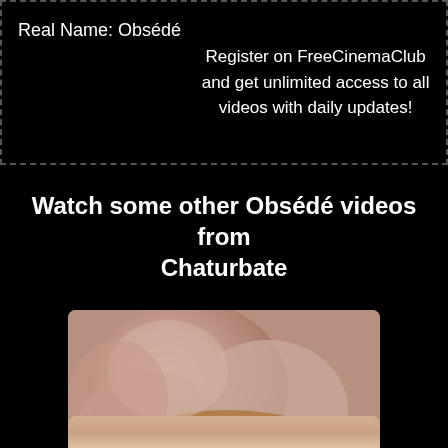Real Name: Obsédé
Register on FreeCinemaClub and get unlimited access to all videos with daily updates!
Watch some other Obsédé videos from Chaturbate
[Figure (photo): Video thumbnail showing a close-up skin/body image]
[08-05-21] Obsede private XXX video
1:57:54  70%
[Figure (photo): Partial video thumbnail at bottom of page]